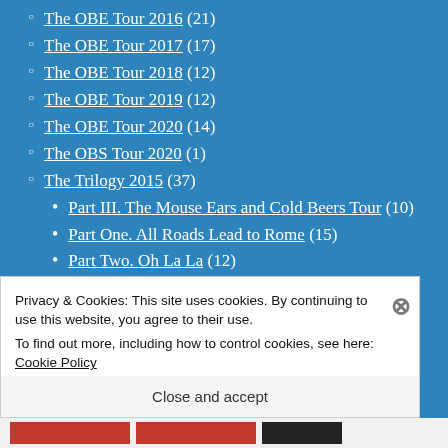The OBE Tour 2016 (21)
The OBE Tour 2017 (17)
The OBE Tour 2018 (12)
The OBE Tour 2019 (12)
The OBE Tour 2020 (14)
The OBS Tour 2020 (1)
The Trilogy 2015 (37)
Part III. The Mouse Ears and Cold Beers Tour (10)
Part One. All Roads Lead to Rome (15)
Part Two. Oh La La (12)
The Viking Beer Tour 2014 (1)
Privacy & Cookies: This site uses cookies. By continuing to use this website, you agree to their use.
To find out more, including how to control cookies, see here: Cookie Policy
Close and accept